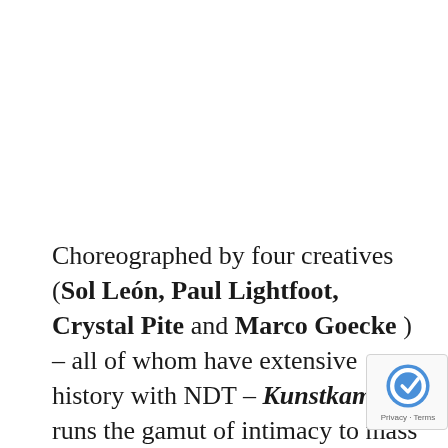Choreographed by four creatives (Sol León, Paul Lightfoot, Crystal Pite and Marco Goecke ) – all of whom have extensive history with NDT – Kunstkamer runs the gamut of intimacy to mass frenzy with unrelenting commitm… While there are textural and tonal differences between the various…